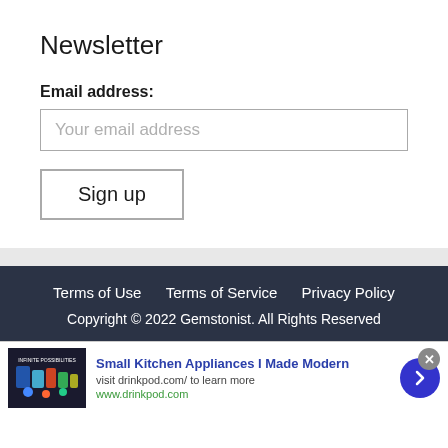Newsletter
Email address:
Your email address
Sign up
Terms of Use   Terms of Service   Privacy Policy
Copyright © 2022 Gemstonist. All Rights Reserved
[Figure (other): Advertisement banner for drinkpod.com showing small kitchen appliances with title 'Small Kitchen Appliances I Made Modern', subtitle 'visit drinkpod.com/ to learn more', url 'www.drinkpod.com', a close button, and a navigation arrow.]